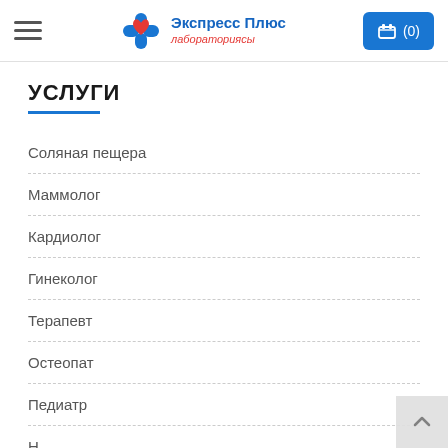Экспресс Плюс лабораториясы — (0)
УСЛУГИ
Соляная пещера
Маммолог
Кардиолог
Гинеколог
Терапевт
Остеопат
Педиатр
Н…